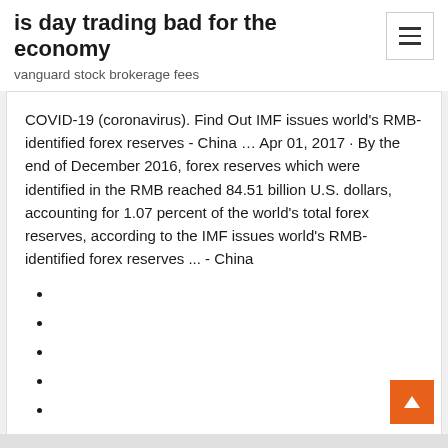is day trading bad for the economy
vanguard stock brokerage fees
COVID-19 (coronavirus). Find Out IMF issues world's RMB-identified forex reserves - China … Apr 01, 2017 · By the end of December 2016, forex reserves which were identified in the RMB reached 84.51 billion U.S. dollars, accounting for 1.07 percent of the world's total forex reserves, according to the IMF issues world's RMB-identified forex reserves ... - China